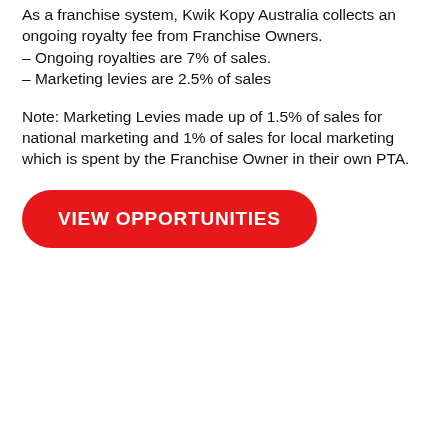As a franchise system, Kwik Kopy Australia collects an ongoing royalty fee from Franchise Owners.
– Ongoing royalties are 7% of sales.
– Marketing levies are 2.5% of sales
Note: Marketing Levies made up of 1.5% of sales for national marketing and 1% of sales for local marketing which is spent by the Franchise Owner in their own PTA.
[Figure (other): Red rounded rectangle button with white uppercase text reading VIEW OPPORTUNITIES]